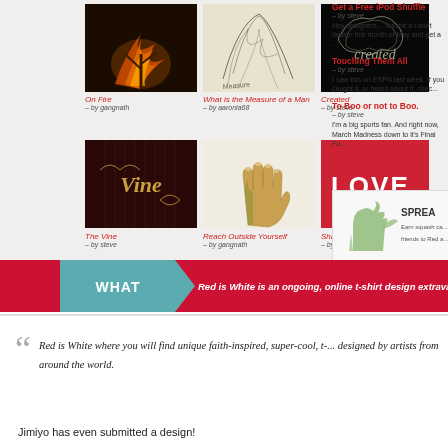[Figure (screenshot): Website gallery showing t-shirt designs in a grid layout with thumbnails and sidebar content]
On Fire – by gangnath
What is the Measure of a Man – by aaronla68
Created – by steve
The Vine – by steve
Reach Outside Yourself – by gangnath
Share the Love – by gobumbert
Get a Free iPod Shuffle – by steve
Hey designers... Submit a t-shirt design this month of May and get a ...
Touching Them All – by steve
I saw this on ESPN last week. If you caught it, or heard about it, chec...
To Boo or not to Boo. – by steve
I'm a big sports fan. And right now, March Madness down to it's Final Fo...
[Figure (infographic): Rooster illustration with text SPREAD. Earn squash ca... friends to Red a...]
[Figure (infographic): Red banner with WHAT tab and text: Red is White is an ongoing, online t-shirt design extravaganza. lea...]
Red is White where you will find unique faith-inspired, super-cool, t-... designed by artists from around the world.
Jimiyo has even submitted a design!